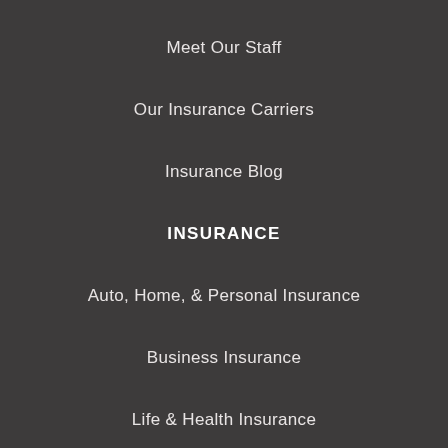Meet Our Staff
Our Insurance Carriers
Insurance Blog
INSURANCE
Auto, Home, & Personal Insurance
Business Insurance
Life & Health Insurance